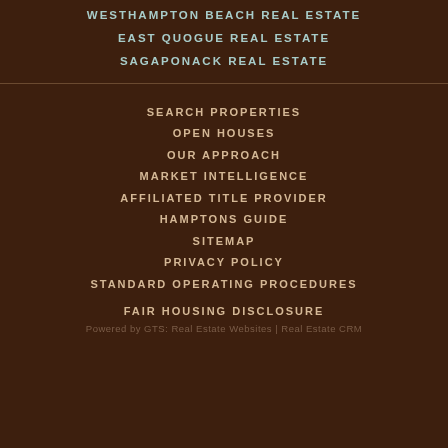WESTHAMPTON BEACH REAL ESTATE
EAST QUOGUE REAL ESTATE
SAGAPONACK REAL ESTATE
SEARCH PROPERTIES
OPEN HOUSES
OUR APPROACH
MARKET INTELLIGENCE
AFFILIATED TITLE PROVIDER
HAMPTONS GUIDE
SITEMAP
PRIVACY POLICY
STANDARD OPERATING PROCEDURES
FAIR HOUSING DISCLOSURE
Powered by GTS: Real Estate Websites | Real Estate CRM